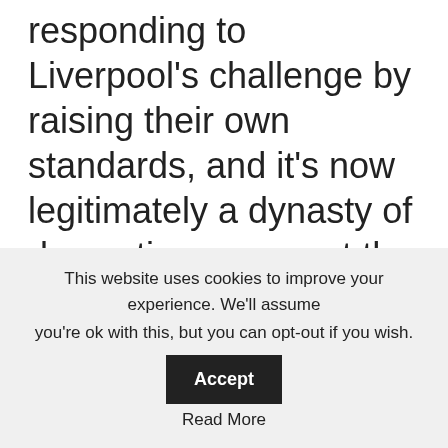responding to Liverpool's challenge by raising their own standards, and it's now legitimately a dynasty of domestic success at the Etihad to rival Fergie's Man United in their prime.
This website uses cookies to improve your experience. We'll assume you're ok with this, but you can opt-out if you wish. Accept Read More